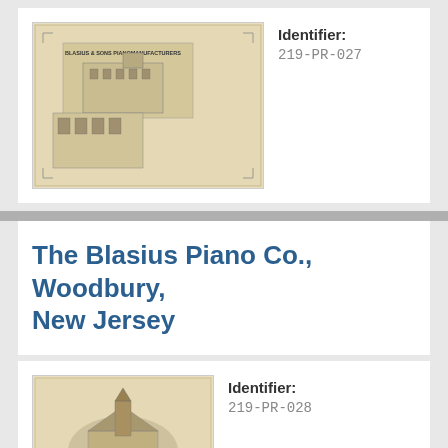[Figure (photo): Antique advertisement card for Blasius & Sons Piano Manufacturers showing buildings, on aged cream/beige paper background]
Identifier:
219-PR-027
The Blasius Piano Co., Woodbury, New Jersey
[Figure (photo): Antique advertisement card for The Blasius Piano Co. showing decorative logo and building illustration on aged cream/beige paper]
Identifier:
219-PR-028